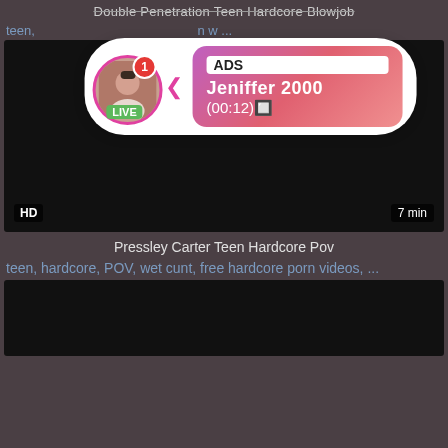Double Penetration Teen Hardcore Blowjob
teen, ... n w ...
[Figure (screenshot): Black video thumbnail with HD badge and 7 min duration badge]
[Figure (infographic): Notification popup ad: avatar with LIVE badge, ADS label, name Jeniffer 2000, time (00:12)]
Pressley Carter Teen Hardcore Pov
teen, hardcore, POV, wet cunt, free hardcore porn videos, ...
[Figure (screenshot): Black video thumbnail partially visible at bottom]